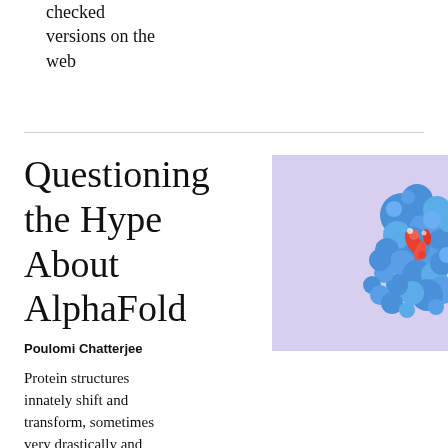checked versions on the web
Questioning the Hype About AlphaFold
Poulomi Chatterjee
Protein structures innately shift and transform, sometimes very drastically and sometimes in subtle
[Figure (photo): Microscopic image of protein/bacterial structures — blue spherical clusters with red/orange elements, on a lavender/purple background.]